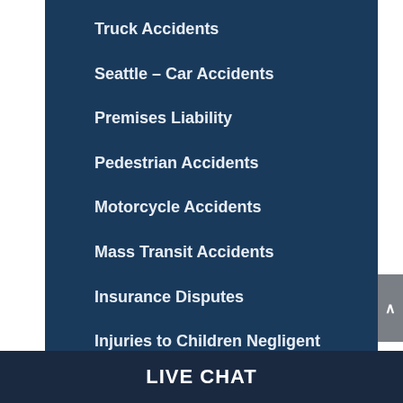Truck Accidents
Seattle – Car Accidents
Premises Liability
Pedestrian Accidents
Motorcycle Accidents
Mass Transit Accidents
Insurance Disputes
Injuries to Children Negligent Supervision
LIVE CHAT